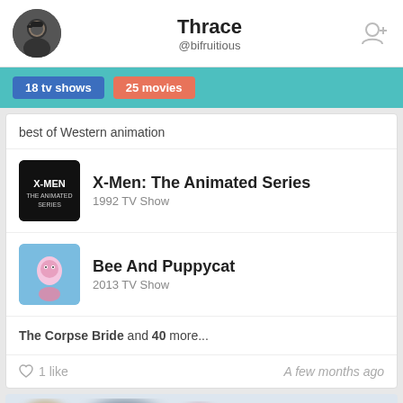Thrace @bifruitious
18 tv shows  25 movies
best of Western animation
X-Men: The Animated Series
1992 TV Show
Bee And Puppycat
2013 TV Show
The Corpse Bride and 40 more...
1 like  A few months ago